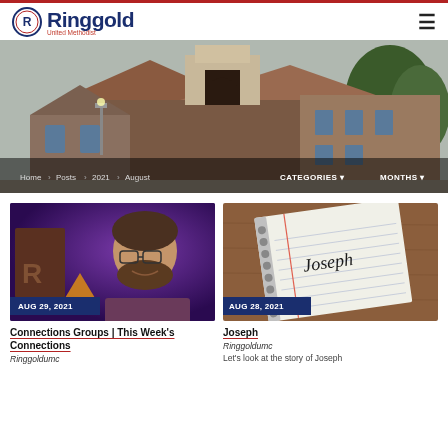[Figure (logo): Ringgold United Methodist church logo with circular emblem and text]
[Figure (photo): Church building exterior photo with brick facade and gothic arch window]
Home › Posts › 2021 › August
CATEGORIES ▼  MONTHS ▼
[Figure (photo): Man with beard and glasses smiling, purple/red background]
AUG 29, 2021
Connections Groups | This Week's Connections
Ringgoldumc
[Figure (photo): Notebook paper with 'Joseph' handwritten on it, on wooden desk background]
AUG 28, 2021
Joseph
Ringgoldumc
Let's look at the story of Joseph